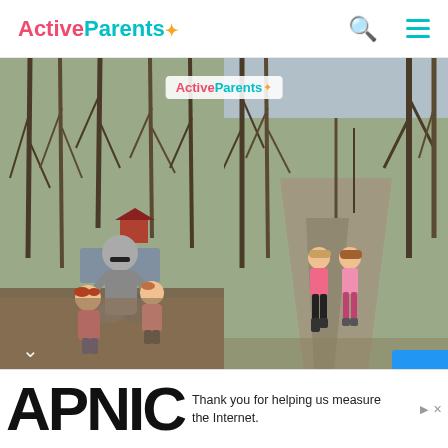Active Parents
[Figure (photo): Two-panel outdoor photo. Left: a woman with sunglasses and two young girls with red hair posing in a forest/nature park setting with bare trees and a creek in background. Right: two young girls walking away on a paved trail surrounded by bare trees in early spring.]
[Figure (logo): Active Parents watermark logo overlaid on the photos]
Thank you for helping us measure the Internet.